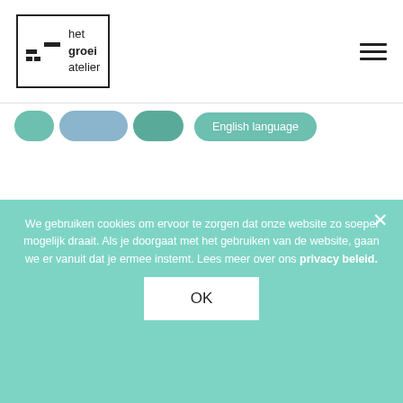het groeiatelier (logo) | hamburger menu
[Figure (other): Three colored pill-shaped tag buttons (teal, blue, teal) partially visible at top, and one full teal pill labeled 'English language']
My coaching style is openminded, supportive and confronting when needed, but always with warm curiosity...
Linnaeushof 6, Amsterdam.
LEES MEER
We gebruiken cookies om ervoor te zorgen dat onze website zo soepel mogelijk draait. Als je doorgaat met het gebruiken van de website, gaan we er vanuit dat je ermee instemt. Lees meer over ons privacy beleid.
OK